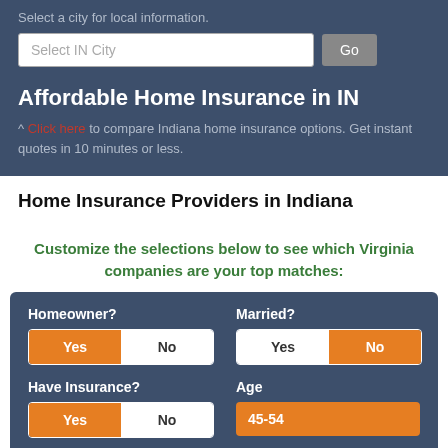Select a city for local information.
Select IN City  Go
Affordable Home Insurance in IN
^ Click here to compare Indiana home insurance options. Get instant quotes in 10 minutes or less.
Home Insurance Providers in Indiana
Customize the selections below to see which Virginia companies are your top matches:
Homeowner? Yes / No | Married? Yes / No | Have Insurance? Yes / No | Age 45-54